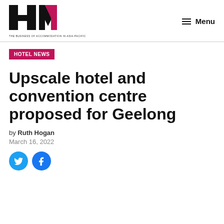HM — THE BUSINESS OF ACCOMMODATION IN ASIA-PACIFIC | Menu
HOTEL NEWS
Upscale hotel and convention centre proposed for Geelong
by Ruth Hogan
March 16, 2022
[Figure (other): Twitter and Facebook social share buttons (teal circles with bird and f icons)]